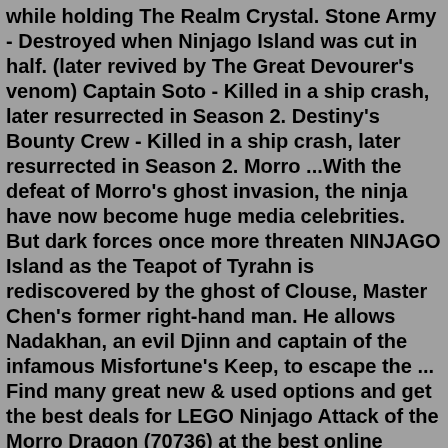while holding The Realm Crystal. Stone Army - Destroyed when Ninjago Island was cut in half. (later revived by The Great Devourer's venom) Captain Soto - Killed in a ship crash, later resurrected in Season 2. Destiny's Bounty Crew - Killed in a ship crash, later resurrected in Season 2. Morro ...With the defeat of Morro's ghost invasion, the ninja have now become huge media celebrities. But dark forces once more threaten NINJAGO Island as the Teapot of Tyrahn is rediscovered by the ghost of Clouse, Master Chen's former right-hand man. He allows Nadakhan, an evil Djinn and captain of the infamous Misfortune's Keep, to escape the ... Find many great new & used options and get the best deals for LEGO Ninjago Attack of the Morro Dragon (70736) at the best online prices at eBay! Free shipping for many products! Morro was raised by Wu. Wu placed high expectations on Morro because Wu had high expectations placed on him. Morro trains and trains under Wu and is told that he could be the green ninja. But he isn't Wu younger... But Morro was not the one...